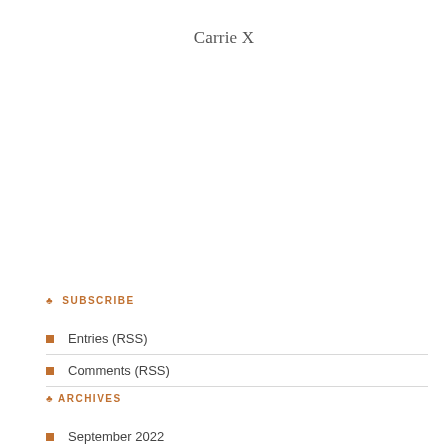Carrie X
♣ SUBSCRIBE
Entries (RSS)
Comments (RSS)
♣ ARCHIVES
September 2022